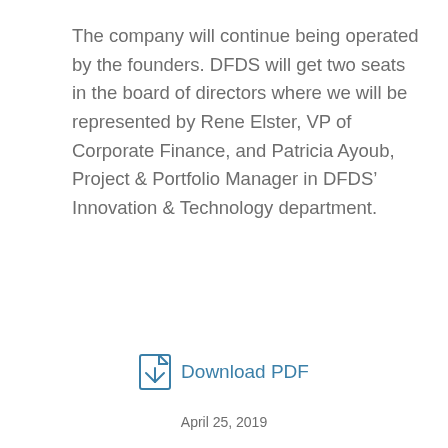The company will continue being operated by the founders. DFDS will get two seats in the board of directors where we will be represented by Rene Elster, VP of Corporate Finance, and Patricia Ayoub, Project & Portfolio Manager in DFDS' Innovation & Technology department.
Download PDF
April 25, 2019